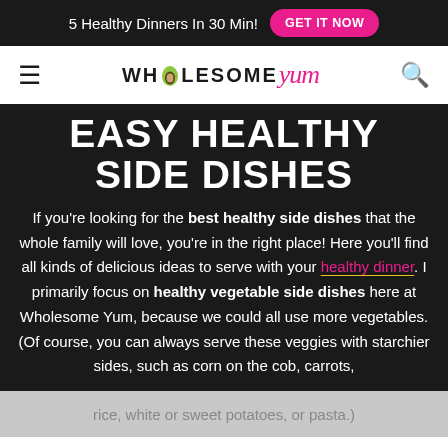5 Healthy Dinners In 30 Min! GET IT NOW
[Figure (logo): Wholesome Yum logo with avocado icon, hamburger menu icon on the left, search icon on the right]
EASY HEALTHY SIDE DISHES
If you're looking for the best healthy side dishes that the whole family will love, you're in the right place! Here you'll find all kinds of delicious ideas to serve with your healthy dinner. I primarily focus on healthy vegetable side dishes here at Wholesome Yum, because we could all use more vegetables. (Of course, you can always serve these veggies with starchier sides, such as corn on the cob, carrots, rice, white or sweet potatoes, or pasta.)